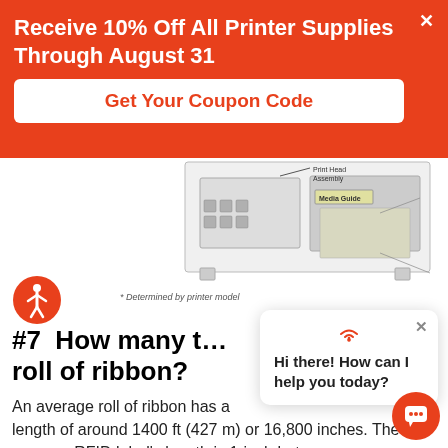Receive 10% Off All Printer Supplies Through August 31
Get Your Coupon Code
[Figure (engineering-diagram): Partial diagram of printer interior showing Print Head Assembly and Media Guide labels]
* Determined by printer model
#7  How many times can you print on a roll of ribbon?
Hi there! How can I help you today?
An average roll of ribbon has a length of around 1400 ft (427 m) or 16,800 inches. The average RFID label's length is 1-inch but can vary anywhere from half-an-inch to 6 inches or more. If you are using a roll of ribbon that is 16,800 inches and you are